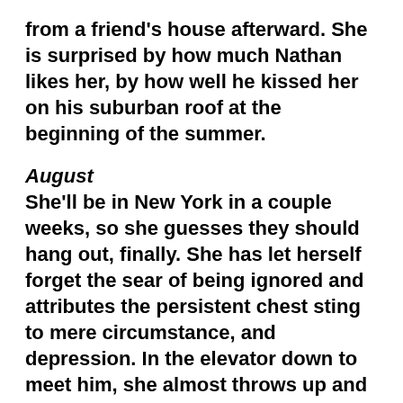from a friend's house afterward. She is surprised by how much Nathan likes her, by how well he kissed her on his suburban roof at the beginning of the summer.
August
She'll be in New York in a couple weeks, so she guesses they should hang out, finally. She has let herself forget the sear of being ignored and attributes the persistent chest sting to mere circumstance, and depression. In the elevator down to meet him, she almost throws up and he is shorter than she expected but she doesn't mind, she doesn't mind the rainy mist even though he apologizes for it, even though they